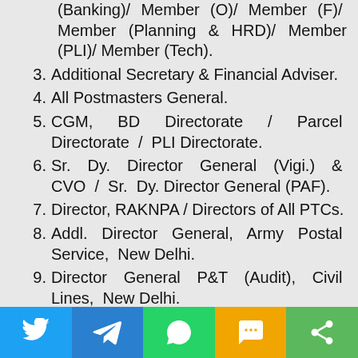(Banking)/ Member (O)/ Member (F)/ Member (Planning & HRD)/ Member (PLI)/ Member (Tech).
3. Additional Secretary & Financial Adviser.
4. All Postmasters General.
5. CGM, BD Directorate / Parcel Directorate / PLI Directorate.
6. Sr. Dy. Director General (Vigi.) & CVO / Sr. Dy. Director General (PAF).
7. Director, RAKNPA / Directors of All PTCs.
8. Addl. Director General, Army Postal Service, New Delhi.
9. Director General P&T (Audit), Civil Lines, New Delhi.
10. Secretary, Postal Services Board/ All Deputy Directors General.
[Figure (infographic): Social share bar with Twitter, Telegram, WhatsApp, SMS, and Share buttons]